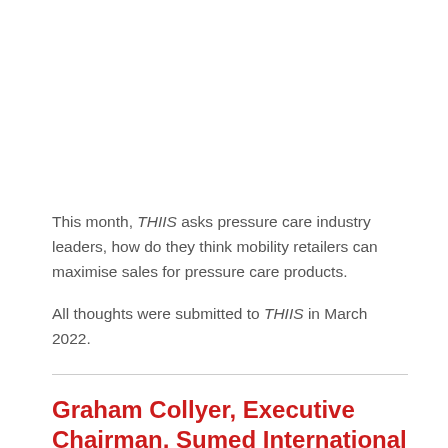This month, THIIS asks pressure care industry leaders, how do they think mobility retailers can maximise sales for pressure care products.
All thoughts were submitted to THIIS in March 2022.
Graham Collyer, Executive Chairman, Sumed International (UK)